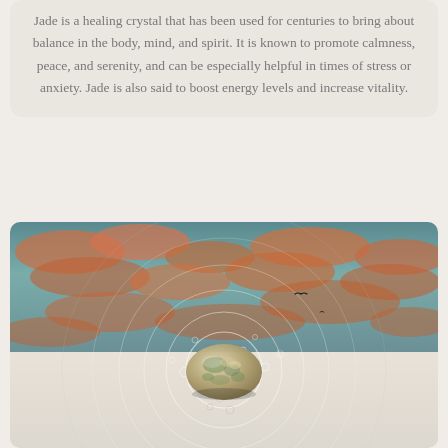Jade is a healing crystal that has been used for centuries to bring about balance in the body, mind, and spirit. It is known to promote calmness, peace, and serenity, and can be especially helpful in times of stress or anxiety. Jade is also said to boost energy levels and increase vitality.
[Figure (photo): A jade crystal stone in an ornate silver setting with circular ripple/energy rings emanating from it, set against a dramatic sky with orange-tinted clouds on the upper half and a light beige background on the lower half.]